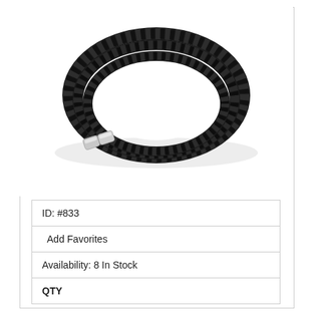[Figure (photo): Black braided leather wrap bracelet with a silver magnetic clasp, coiled in a circular shape on a white background.]
| ID: #833 |
| Add Favorites |
| Availability: 8 In Stock |
| QTY |